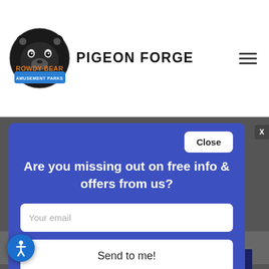ROWDY BEAR AMUSEMENT PARKS — PIGEON FORGE
[Figure (screenshot): Popup modal with blue background asking 'Are you missing out on free info & offers from us?' with email input field and 'Send to me!' button, on top of a website page]
RELATED POSTS:
[Figure (photo): Dark photo showing partial view of an amusement park ride]